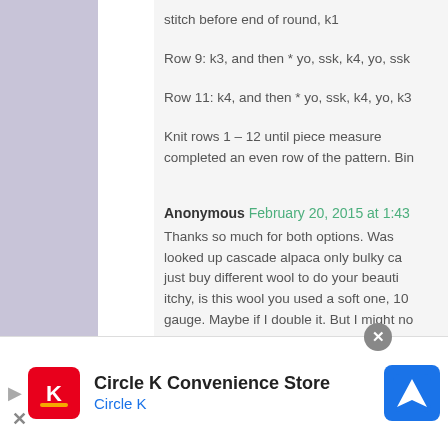stitch before end of round, k1
Row 9: k3, and then * yo, ssk, k4, yo, ssk
Row 11: k4, and then * yo, ssk, k4, yo, k3
Knit rows 1 – 12 until piece measures completed an even row of the pattern. Bin
Anonymous February 20, 2015 at 1:43
Thanks so much for both options. Was looked up cascade alpaca only bulky ca just buy different wool to do your beauti itchy, is this wool you used a soft one, 10 gauge. Maybe if I double it. But I might no
Anonymous February 20, 2015 at
[Figure (infographic): Circle K Convenience Store advertisement bar at the bottom of the page, showing Circle K logo in red square, the text 'Circle K Convenience Store' in bold black, 'Circle K' in blue, a blue navigation sign icon on the right, and an X close button.]